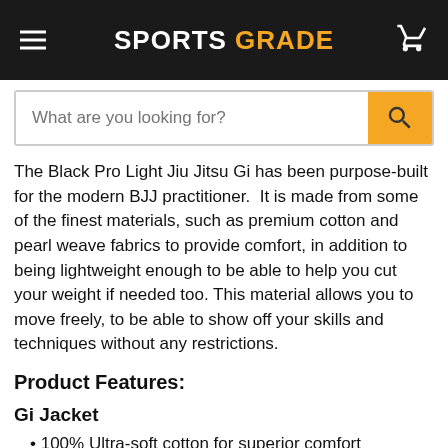SPORTS GRADE
The Black Pro Light Jiu Jitsu Gi has been purpose-built for the modern BJJ practitioner.  It is made from some of the finest materials, such as premium cotton and pearl weave fabrics to provide comfort, in addition to being lightweight enough to be able to help you cut your weight if needed too. This material allows you to move freely, to be able to show off your skills and techniques without any restrictions.
Product Features:
Gi Jacket
100% Ultra-soft cotton for superior comfort
350 GSM Pearl Weave fabric; Lightweight, cool, harder to grip